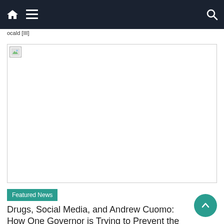Navigation bar with home icon, menu icon, and search icon
ocald [III]
[Figure (photo): Broken image placeholder — a large rectangular image area with a broken image icon in the top-left corner]
Featured News
Drugs, Social Media, and Andrew Cuomo: How One Governor is Trying to Prevent the Worst